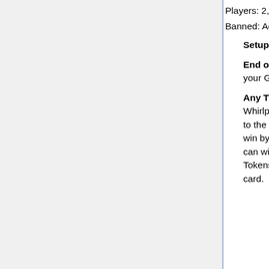Players: 2, 3, 4 — REVISED POWER
Banned: Adonis, Harpies, Hecate, Persephone
Setup: Place 2 Whirlpool Tokens on your God Power card.
End of Your Turn: You may place a Whirlpool Token from your God Power card on any unoccupied space on the board.
Any Time: If a Worker moves onto a Whirlpool and the other Whirlpool is on the board in an unoccupied space, it is forced to the other Whirlpool's space. In this case, the player cannot win by moving their Worker to the first Whirlpool's space but can win as if it had moved up to the second space. Whirlpool Tokens built on or removed are returned to your God Power card.